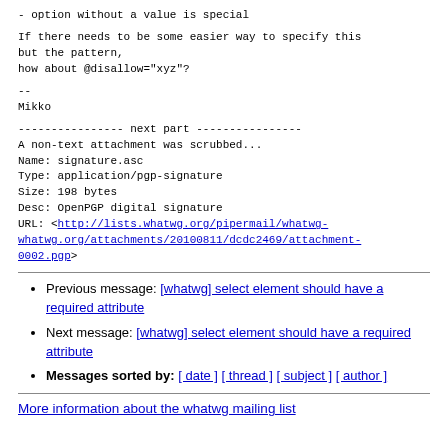- option without a value is special

If there needs to be some easier way to specify this but the pattern,
how about @disallow="xyz"?

--
Mikko

---------------- next part ----------------
A non-text attachment was scrubbed...
Name: signature.asc
Type: application/pgp-signature
Size: 198 bytes
Desc: OpenPGP digital signature
URL: <http://lists.whatwg.org/pipermail/whatwg-whatwg.org/attachments/20100811/dcdc2469/attachment-0002.pgp>
Previous message: [whatwg] select element should have a required attribute
Next message: [whatwg] select element should have a required attribute
Messages sorted by: [ date ] [ thread ] [ subject ] [ author ]
More information about the whatwg mailing list